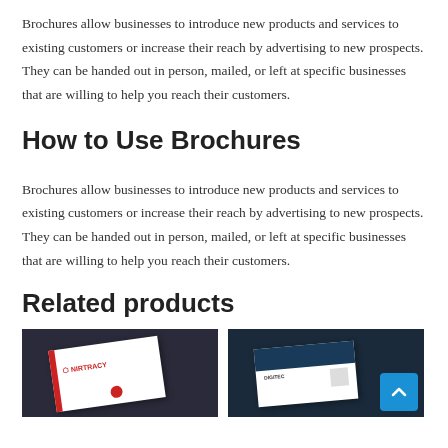Brochures allow businesses to introduce new products and services to existing customers or increase their reach by advertising to new prospects. They can be handed out in person, mailed, or left at specific businesses that are willing to help you reach their customers.
How to Use Brochures
Brochures allow businesses to introduce new products and services to existing customers or increase their reach by advertising to new prospects. They can be handed out in person, mailed, or left at specific businesses that are willing to help you reach their customers.
Related products
[Figure (photo): Two product images side by side: left shows a white business card with red accent and logo on dark background; right shows a business card mockup with dark header and QR code on dark navy background. A blue scroll-to-top button overlaps the right image.]